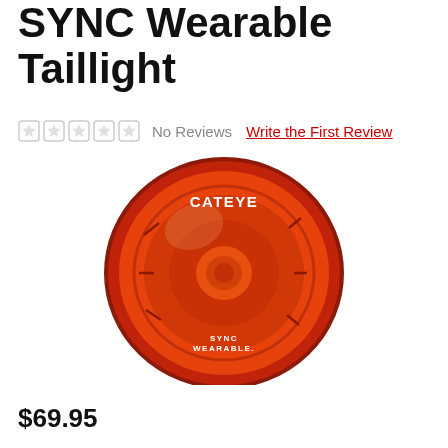SYNC Wearable Taillight
No Reviews   Write the First Review
[Figure (photo): CatEye SYNC Wearable Taillight product photo — a round red/orange translucent bicycle taillight with CATEYE branding at top and SYNC WEARABLE text at bottom, mounted on a black clip bracket]
$69.95